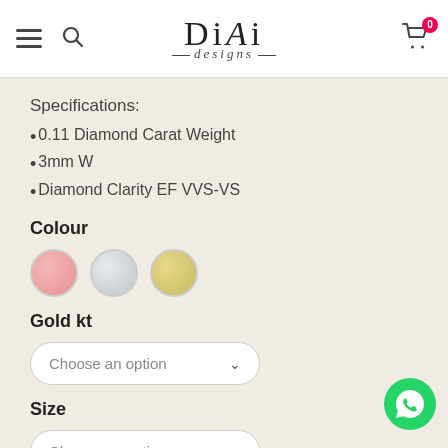[Figure (logo): DiAi Designs logo with hamburger menu, search icon, and cart icon with badge 0]
Specifications:
0.11 Diamond Carat Weight
3mm W
Diamond Clarity EF VVS-VS
Colour
[Figure (illustration): Three colour swatches: rose gold, white/silver, yellow gold]
Gold kt
[Figure (screenshot): Dropdown selector labelled 'Choose an option' for Gold kt]
Size
[Figure (screenshot): Dropdown selector labelled 'Choose an option' for Size]
[Figure (illustration): WhatsApp contact button (green circle with phone icon)]